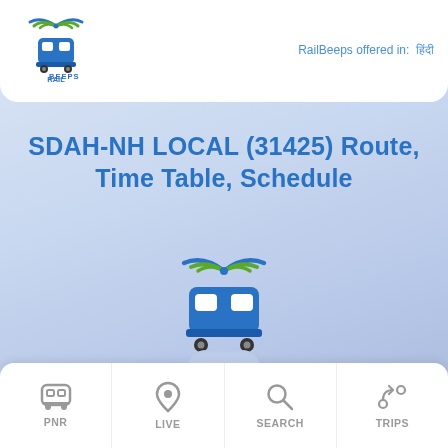[Figure (logo): RailBeeps logo with train icon and WiFi signal at top, showing a train locomotive with the text RAIL BEEPS]
RailBeeps offered in:  हिंदी
SDAH-NH LOCAL (31425) Route, Time Table, Schedule
[Figure (logo): RailBeeps centered logo, larger version with train icon WiFi signal and text RAIL BEEPS]
[Figure (infographic): Bottom navigation bar with four icons: PNR (train icon), LIVE (location pin icon), SEARCH (magnifying glass icon), TRIPS (navigation/route icon)]